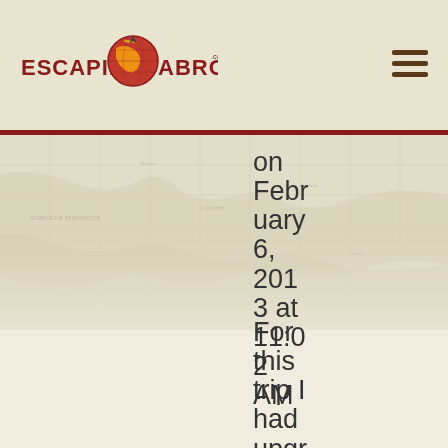[Figure (logo): Escaping Abroad logo with globe graphic and website URL text]
[Figure (illustration): Hamburger menu icon (three horizontal lines) in dark brown]
[Figure (illustration): Antique world map background image fading from center]
on February 6, 2013 at 11:02 AM
For this trip I had upgrade